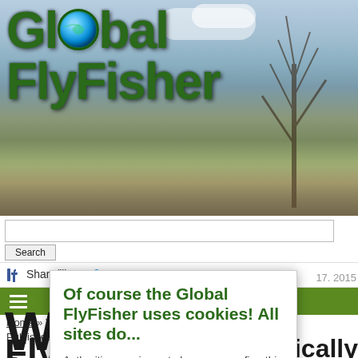[Figure (screenshot): Global FlyFisher website header banner with landscape background photo (sky, tree, shoreline), large green logo text 'Global FlyFisher' with globe replacing the 'o' in Global, search bar, social sharing bar (Share/like, Tweet, Comment, 3), green hamburger menu bar]
Global FlyFisher
Share/like  Tweet  Comment  3
Home » What is... » What is a fly rod?
Published Dec 30. 2013 - 8 years ago
17. 2015
Of course the Global FlyFisher uses cookies! All sites do...
W
Fly
ically
fo
Authorities require us to have you confirm this